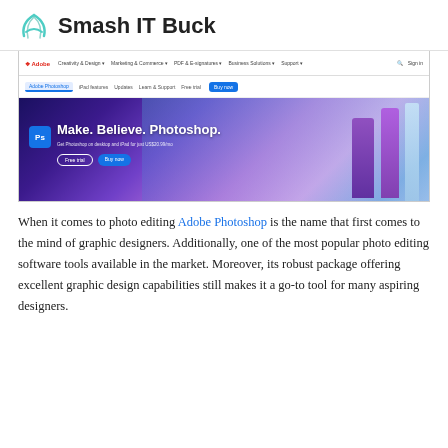Smash IT Buck
[Figure (screenshot): Screenshot of the Adobe Photoshop website homepage showing navigation bar with Adobe logo, nav links (Creativity & Design, Marketing & Commerce, PDF & E-signatures, Business Solutions, Support), a sub-navigation with Adobe Photoshop selected, and a hero banner with 'Make. Believe. Photoshop.' tagline, Ps logo badge, and Free trial / Buy now buttons against a colorful illustrated city background.]
When it comes to photo editing Adobe Photoshop is the name that first comes to the mind of graphic designers. Additionally, one of the most popular photo editing software tools available in the market. Moreover, its robust package offering excellent graphic design capabilities still makes it a go-to tool for many aspiring designers.